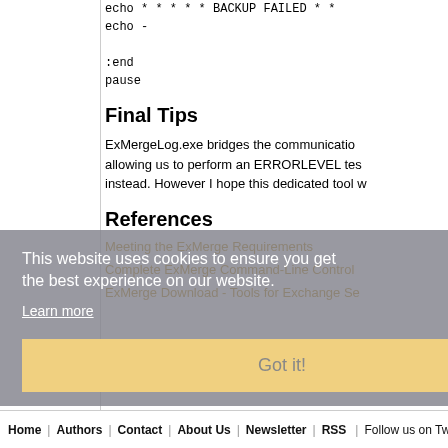echo * * * * * BACKUP FAILED * *
echo -

:end
pause
Final Tips
ExMergeLog.exe bridges the communication allowing us to perform an ERRORLEVEL tes instead. However I hope this dedicated tool w
References
Meeting the ExMerge Requirements
Complete ExMerge Command-Line Control
ExMerge Download - Tools for Exchange Se
This website uses cookies to ensure you get the best experience on our website.
Learn more
Got it!
Home | Authors | Contact | About Us | Newsletter | RSS | Follow us on Twitt